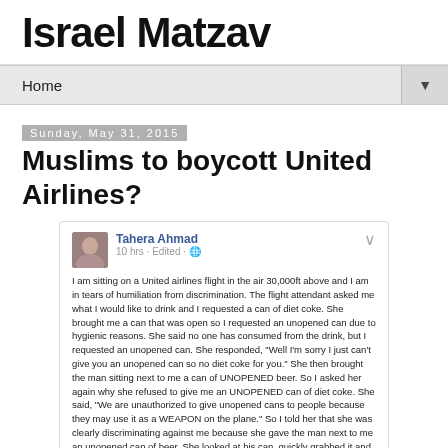Israel Matzav
Home
Sunday, May 31, 2015
Muslims to boycott United Airlines?
[Figure (screenshot): Facebook post by Tahera Ahmad describing discrimination on a United Airlines flight, stating she was denied an unopened can of diet coke while the man next to her received an unopened beer, and a fellow passenger yelled at her.]
I am sitting on a United airlines flight in the air 30,000ft above and I am in tears of humiliation from discrimination. The flight attendant asked me what I would like to drink and I requested a can of diet coke. She brought me a can that was open so I requested an unopened can due to hygienic reasons. She said no one has consumed from the drink, but I requested an unopened can. She responded, "Well I'm sorry I just can't give you an unopened can so no diet coke for you." She then brought the man sitting next to me a can of UNOPENED beer. So I asked her again why she refused to give me an UNOPENED can of diet coke. She said, "We are unauthorized to give unopened cans to people because they may use it as a WEAPON on the plane." So I told her that she was clearly discriminating against me because she gave the man next to me an unopened can of beer. She looked at his can, quickly grabbed it and opened it and said, "it's so you don't use it as a weapon." Appauled at her behavior I asked people around me if they witnessed this discriminatory and disgusting behavior and the man sitting in an aisle across from me yelled out to me, "you Moslem, you need to shut the F** up." I said, "what?!" He then leaned over from his seat, looked me straight in the eyes and said, "yes you know you would use it as a WEAPON so shut the f**k up." I felt the hate in his voice and his raging eyes. I can't help but cry on this plane because I thought people would defend me and say